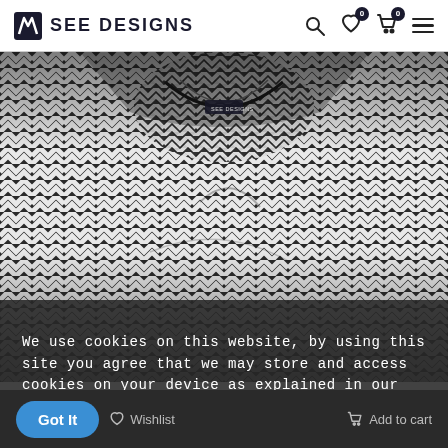SEE DESIGNS
[Figure (photo): Close-up photo of a black and white zigzag/chevron patterned garment (shirt or jacket) laid flat, showing collar and front panel details with a brand label visible at the collar.]
We use cookies on this website, by using this site you agree that we may store and access cookies on your device as explained in our Privacy Policy.
Got It   Wishlist   Add to cart